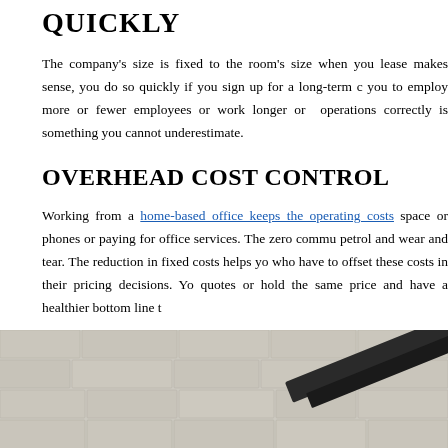QUICKLY
The company's size is fixed to the room's size when you lease makes sense, you do so quickly if you sign up for a long-term c you to employ more or fewer employees or work longer or operations correctly is something you cannot underestimate.
OVERHEAD COST CONTROL
Working from a home-based office keeps the operating costs space or phones or paying for office services. The zero commu petrol and wear and tear. The reduction in fixed costs helps yo who have to offset these costs in their pricing decisions. Yo quotes or hold the same price and have a healthier bottom line t
[Figure (photo): A home office setting with a white brick wall background and what appears to be a dark object (possibly a laptop or desk item) in the lower right.]